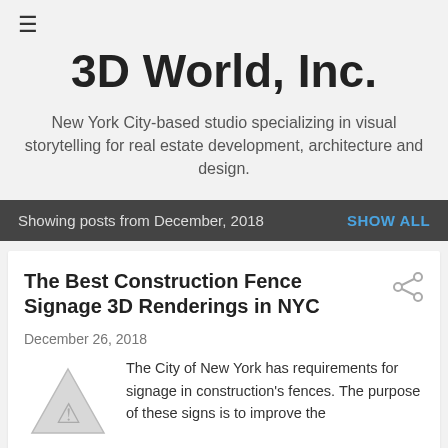≡
3D World, Inc.
New York City-based studio specializing in visual storytelling for real estate development, architecture and design.
Showing posts from December, 2018
The Best Construction Fence Signage 3D Renderings in NYC
December 26, 2018
The City of New York has requirements for signage in construction's fences. The purpose of these signs is to improve the